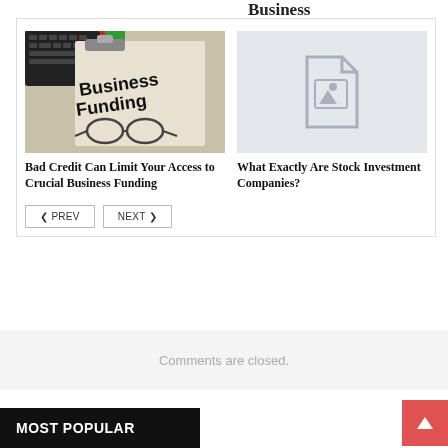Business
[Figure (photo): Photo of a clipboard showing 'Business Funding' text with glasses and documents]
Bad Credit Can Limit Your Access to Crucial Business Funding
[Figure (photo): Placeholder image with document/image icon on light blue-grey background]
What Exactly Are Stock Investment Companies?
PREV  NEXT
Comments are closed.
MOST POPULAR